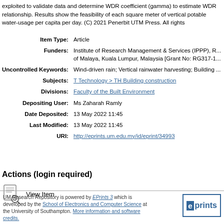exploited to validate data and determine WDR coefficient (gamma) to estimate WDR relationship. Results show the feasibility of each square meter of vertical potable water-usage per capita per day. (C) 2021 Penerbit UTM Press. All rights
| Item Type: | Article |
| Funders: | Institute of Research Management & Services (IPPP), R... of Malaya, Kuala Lumpur, Malaysia [Grant No: RG317-1... |
| Uncontrolled Keywords: | Wind-driven rain; Vertical rainwater harvesting; Building ... |
| Subjects: | T Technology > TH Building construction |
| Divisions: | Faculty of the Built Environment |
| Depositing User: | Ms Zaharah Ramly |
| Date Deposited: | 13 May 2022 11:45 |
| Last Modified: | 13 May 2022 11:45 |
| URI: | http://eprints.um.edu.my/id/eprint/34993 |
Actions (login required)
View Item
UM Research Repository is powered by EPrints 3 which is developed by the School of Electronics and Computer Science at the University of Southampton. More information and software credits.